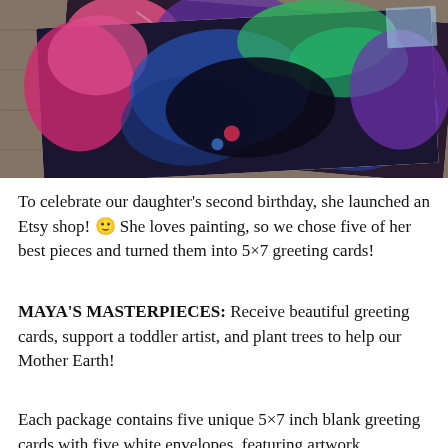[Figure (photo): Photo of colorful abstract painted greeting cards laid on a wooden surface. The cards show vibrant abstract artwork with pinks, blues, purples, greens, and black paint textures.]
To celebrate our daughter's second birthday, she launched an Etsy shop! 🙂 She loves painting, so we chose five of her best pieces and turned them into 5×7 greeting cards!
MAYA'S MASTERPIECES: Receive beautiful greeting cards, support a toddler artist, and plant trees to help our Mother Earth!
Each package contains five unique 5×7 inch blank greeting cards with five white envelopes, featuring artwork